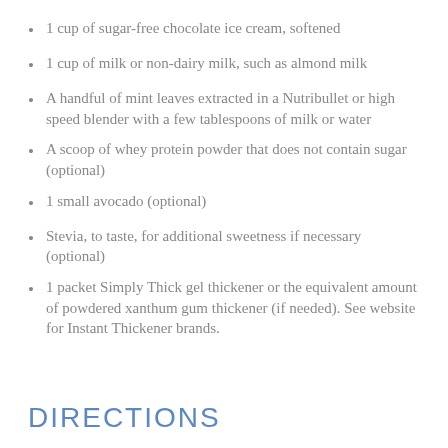1 cup of sugar-free chocolate ice cream, softened
1 cup of milk or non-dairy milk, such as almond milk
A handful of mint leaves extracted in a Nutribullet or high speed blender with a few tablespoons of milk or water
A scoop of whey protein powder that does not contain sugar (optional)
1 small avocado (optional)
Stevia, to taste, for additional sweetness if necessary (optional)
1 packet Simply Thick gel thickener or the equivalent amount of powdered xanthum gum thickener (if needed). See website for Instant Thickener brands.
DIRECTIONS